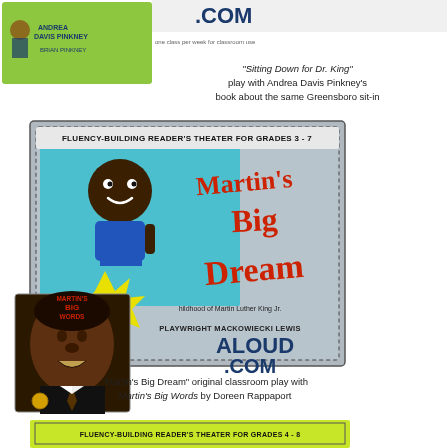[Figure (illustration): Top book cover with green background showing children's book by Andrea Davis Pinkney and Brian Pinkney, with .COM banner text visible]
"Sitting Down for Dr. King" play with Andrea Davis Pinkney's book about the same Greensboro sit-in
[Figure (illustration): Martin's Big Dream - Fluency-Building Reader's Theater for Grades 3-7, featuring cartoon illustration of young Martin Luther King Jr. and photo of adult Martin Luther King Jr. overlaid with the Martin's Big Words book cover. Shows ALOUD.COM branding and playwright Mackowiecki Lewis credit.]
"Martin's Big Dream" original classroom play with Martin's Big Words by Doreen Rappaport
[Figure (illustration): Bottom yellow-green banner: Fluency-Building Reader's Theater for Grades 4-8]